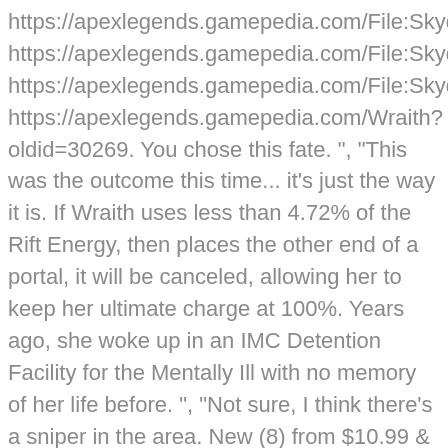https://apexlegends.gamepedia.com/File:SkydiveEmote_Wraith https://apexlegends.gamepedia.com/File:SkydiveEmote_Wraith https://apexlegends.gamepedia.com/File:SkydiveEmote_Wraith https://apexlegends.gamepedia.com/Wraith?oldid=30269. You chose this fate. ", "This was the outcome this time... it's just the way it is. If Wraith uses less than 4.72% of the Rift Energy, then places the other end of a portal, it will be canceled, allowing her to keep her ultimate charge at 100%. Years ago, she woke up in an IMC Detention Facility for the Mentally Ill with no memory of her life before. ", "Not sure, I think there's a sniper in the area. New (8) from $10.99 & FREE Shipping on orders over $25.00. While the concept is obviously similar to other battle royale games, the big difference is players get to … You can check out the rest of his work on his Instagram. Wraith is one of the more difficult Legends to master in Apex Legends, so we break down the best strategies and tactics for this elusive character. ", "I guess I was just one step ahead of you. ", "Get in the Trident or walk, your choice.", "Black Market